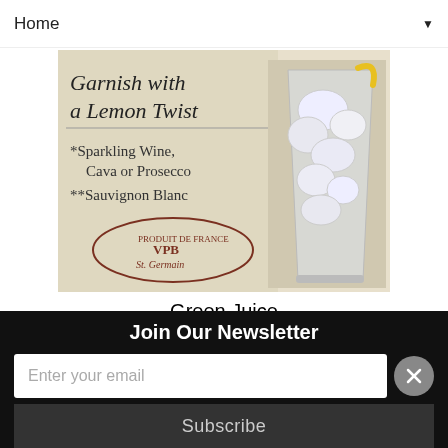Home ▼
[Figure (photo): Photo of a cocktail/drink label showing text: 'Garnish with a Lemon Twist', '*Sparkling Wine, Cava or Prosecco', '**Sauvignon Blanc', and a stamp reading 'PRODUIT DE FRANCE VPB St. Germain', alongside a glass filled with ice and garnished with lemon.]
Green Juice
Hey something healthy! I pulled out my juicer after over a year of hibernation. I had a spring in my step after drinking this. I think it's the ginger or maybe it was the coffee I had
Join Our Newsletter
Enter your email
Subscribe